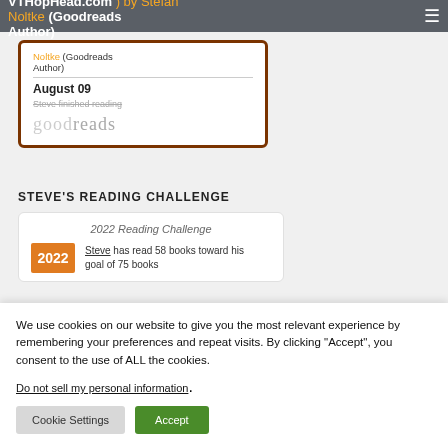VTHopHead.com ... by Stefan ... Noltke (Goodreads Author)
August 09
Steve finished reading
[Figure (logo): Goodreads logo in light gray]
STEVE'S READING CHALLENGE
2022 Reading Challenge
Steve has read 58 books toward his goal of 75 books
We use cookies on our website to give you the most relevant experience by remembering your preferences and repeat visits. By clicking “Accept”, you consent to the use of ALL the cookies.
Do not sell my personal information.
Cookie Settings
Accept